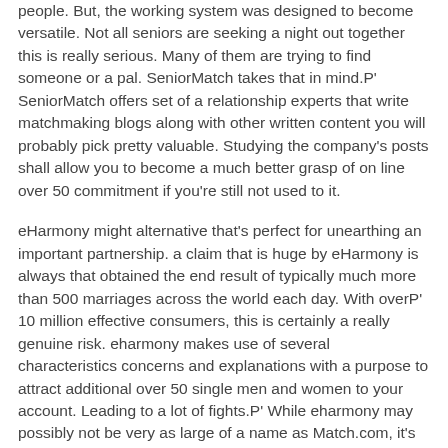people. But, the working system was designed to become versatile. Not all seniors are seeking a night out together this is really serious. Many of them are trying to find someone or a pal. SeniorMatch takes that in mind.P' SeniorMatch offers set of a relationship experts that write matchmaking blogs along with other written content you will probably pick pretty valuable. Studying the company's posts shall allow you to become a much better grasp of on line over 50 commitment if you're still not used to it.
eHarmony might alternative that's perfect for unearthing an important partnership. a claim that is huge by eHarmony is always that obtained the end result of typically much more than 500 marriages across the world each day. With overP' 10 million effective consumers, this is certainly a really genuine risk. eharmony makes use of several characteristics concerns and explanations with a purpose to attract additional over 50 single men and women to your account. Leading to a lot of fights.P' While eharmony may possibly not be very as large of a name as Match.com, it's in addition a massive label from the on line matchmaking world. Their own commitment to assisting over 50 singles find a place until now, coupled with exactly how famous they were, helps it be important for almost any index of over 50 internet dating internet.